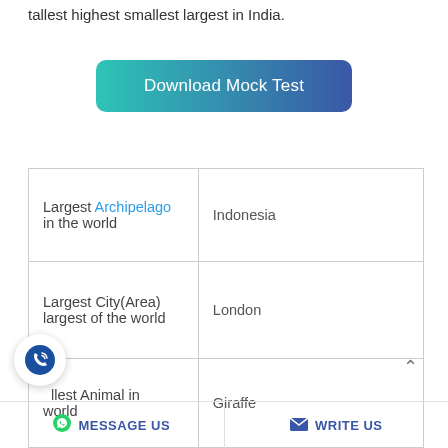tallest highest smallest largest in India.
[Figure (other): Download Mock Test button with teal-to-blue gradient]
| Largest Archipelago in the world | Indonesia |
| Largest City(Area) largest of the world | London |
| [T]allest Animal in world | Giraffe |
MESSAGE US   WRITE US